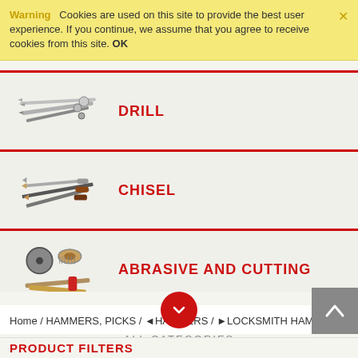Warning  Cookies are used on this site to provide the best user experience. If you continue, we assume that you agree to receive cookies from this site. OK
[Figure (illustration): Drill tools image showing drill bits and accessories]
DRILL
[Figure (illustration): Chisel tools image showing various chisels and files]
CHISEL
[Figure (illustration): Abrasive and cutting tools image showing grinding wheels and brushes]
ABRASIVE AND CUTTING
ALL CATEGORIES
Home / HAMMERS, PICKS / ◄HAMMERS / ►LOCKSMITH HAMMER
PRODUCT FILTERS